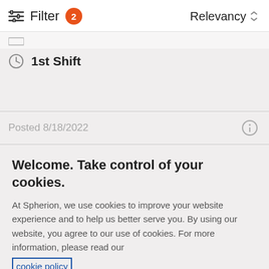Filter 2   Relevancy
1st Shift
Posted 8/18/2022
Welcome. Take control of your cookies.
At Spherion, we use cookies to improve your website experience and to help us better serve you. By using our website, you agree to our use of cookies. For more information, please read our cookie policy
Cookies Settings   Accept Cookies